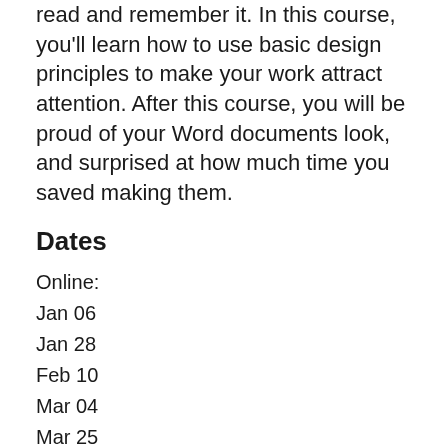read and remember it. In this course, you'll learn how to use basic design principles to make your work attract attention. After this course, you will be proud of your Word documents look, and surprised at how much time you saved making them.
Dates
Online:
Jan 06
Jan 28
Feb 10
Mar 04
Mar 25
More dates
Preferred date